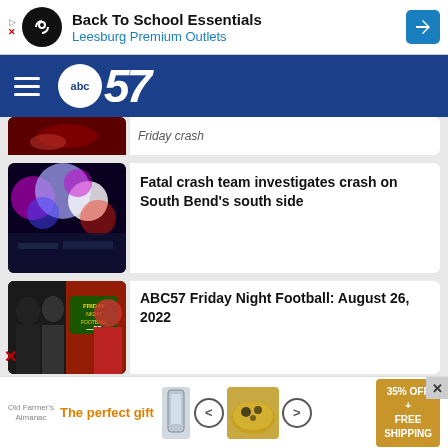[Figure (screenshot): Advertisement banner: Back To School Essentials - Leesburg Premium Outlets with logo and blue arrow icon]
[Figure (logo): ABC57 news website navigation bar with hamburger menu and ABC57 logo on blue background]
[Figure (photo): Partially visible news card with red-tinted football/crash image]
Friday crash
[Figure (photo): Blurred police lights bokeh photo (blue, red, purple)]
Fatal crash team investigates crash on South Bend's south side
[Figure (photo): ABC57 Friday Night Football TV set with anchors]
ABC57 Friday Night Football: August 26, 2022
[Figure (screenshot): Bottom advertisement: The perfect gift - food product with 35% Off + Free Shipping offer]